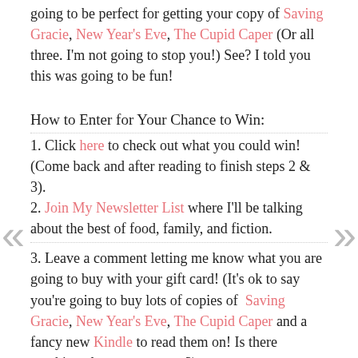going to be perfect for getting your copy of Saving Gracie, New Year's Eve, The Cupid Caper (Or all three. I'm not going to stop you!) See? I told you this was going to be fun!
How to Enter for Your Chance to Win:
1. Click here to check out what you could win! (Come back and after reading to finish steps 2 & 3).
2. Join My Newsletter List where I'll be talking about the best of food, family, and fiction.
3. Leave a comment letting me know what you are going to buy with your gift card! (It's ok to say you're going to buy lots of copies of Saving Gracie, New Year's Eve, The Cupid Caper and a fancy new Kindle to read them on! Is there anything else you want too?)